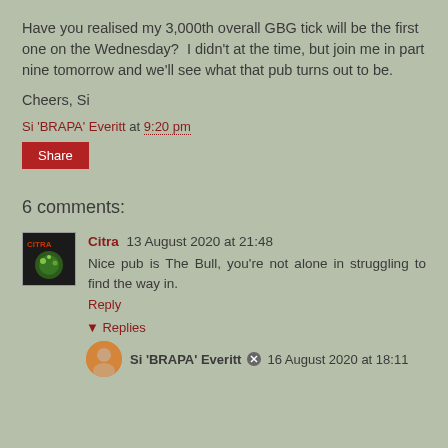Have you realised my 3,000th overall GBG tick will be the first one on the Wednesday?  I didn't at the time, but join me in part nine tomorrow and we'll see what that pub turns out to be.
Cheers, Si
Si 'BRAPA' Everitt at 9:20 pm
Share
6 comments:
Citra 13 August 2020 at 21:48
Nice pub is The Bull, you're not alone in struggling to find the way in.
Reply
Replies
Si 'BRAPA' Everitt  16 August 2020 at 18:11